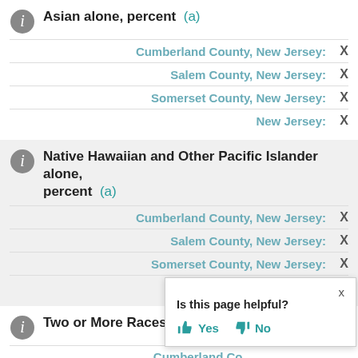Asian alone, percent (a)
Cumberland County, New Jersey: X
Salem County, New Jersey: X
Somerset County, New Jersey: X
New Jersey: X
Native Hawaiian and Other Pacific Islander alone, percent (a)
Cumberland County, New Jersey: X
Salem County, New Jersey: X
Somerset County, New Jersey: X
New Jersey: X
Two or More Races, percent
Cumberland County, New Jersey: (partially obscured)
Salem County, New Jersey: (partially obscured)
Is this page helpful? Yes No